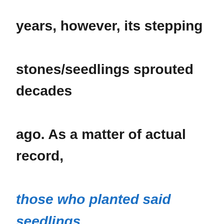years, however, its stepping stones/seedlings sprouted decades ago. As a matter of actual record, those who planted said seedlings are now the gatekeepers to the Radical/Islamist-in-Chief ! Talk